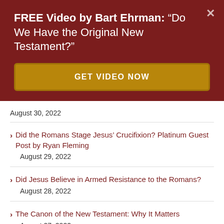FREE Video by Bart Ehrman: "Do We Have the Original New Testament?"
GET VIDEO NOW
August 30, 2022
Did the Romans Stage Jesus’ Crucifixion? Platinum Guest Post by Ryan Fleming
August 29, 2022
Did Jesus Believe in Armed Resistance to the Romans?
August 28, 2022
The Canon of the New Testament: Why It Matters
August 27, 2022
Did Jesus Collaborate with the Romans to Produce